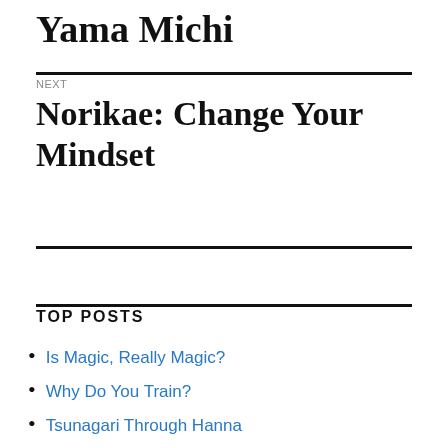Yama Michi
NEXT
Norikae: Change Your Mindset
TOP POSTS
Is Magic, Really Magic?
Why Do You Train?
Tsunagari Through Hanna